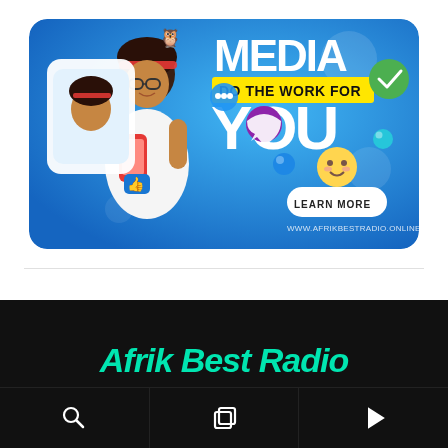[Figure (infographic): Social media advertisement banner on blue gradient background. Shows a young person holding a phone with text 'MEDIA DO THE WORK FOR YOU', a 'LEARN MORE' button, and URL 'WWW.AFRIKBESTRADIO.ONLINE'. Various 3D emoji and social media icons float around.]
Afrik Best Radio